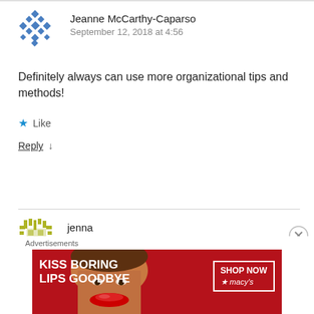Jeanne McCarthy-Caparso
September 12, 2018 at 4:56
Definitely always can use more organizational tips and methods!
Like
Reply ↓
jenna
September 13, 2018 at 6:04
[Figure (illustration): Advertisement banner: Macy's lipstick ad reading 'KISS BORING LIPS GOODBYE' with 'SHOP NOW' button and Macy's logo on red background]